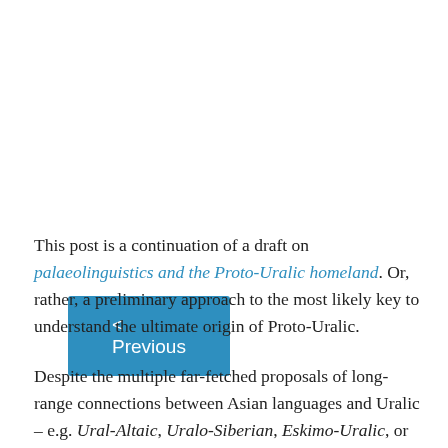< Previous
This post is a continuation of a draft on palaeolinguistics and the Proto-Uralic homeland. Or, rather, a preliminary approach to the most likely key to understand the ultimate origin of Proto-Uralic.
Despite the multiple far-fetched proposals of long-range connections between Asian languages and Uralic – e.g. Ural-Altaic, Uralo-Siberian, Eskimo-Uralic, or Uralo-Dravidian – its closest language family is evidently